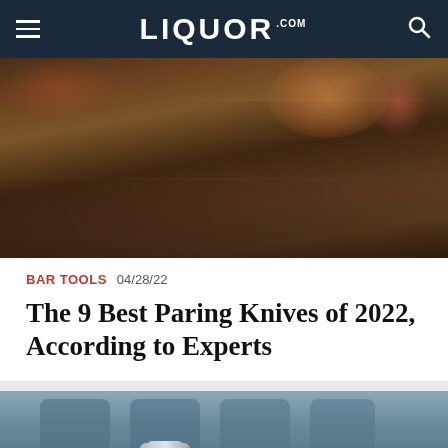LIQUOR.COM
[Figure (photo): Dark wooden surface with orange citrus fruit and garnish visible at top, moody bar/kitchen setting]
BAR TOOLS  04/28/22
The 9 Best Paring Knives of 2022, According to Experts
[Figure (photo): Blue-toned image showing bar tools, chairs in background, glass/chrome tool in foreground]
We help people find answers, solve problems and get inspired.   Dotdash meredith